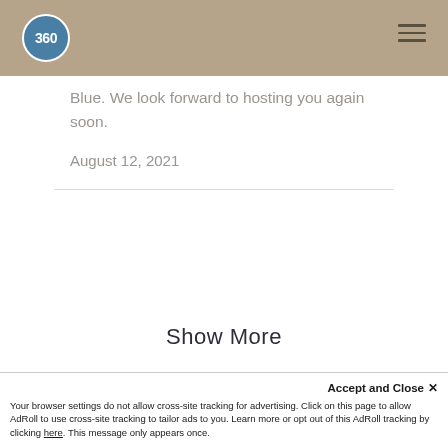360
Blue. We look forward to hosting you again soon.
August 12, 2021
Show More
Accept and Close ×
Your browser settings do not allow cross-site tracking for advertising. Click on this page to allow AdRoll to use cross-site tracking to tailor ads to you. Learn more or opt out of this AdRoll tracking by clicking here. This message only appears once.